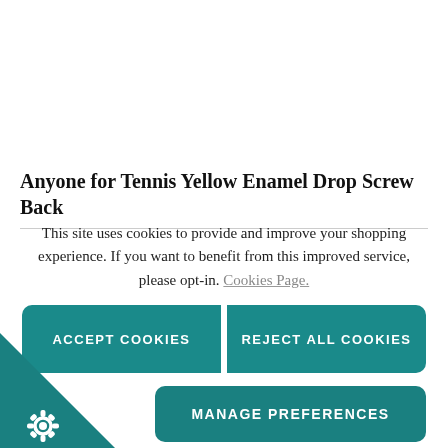Anyone for Tennis Yellow Enamel Drop Screw Back
This site uses cookies to provide and improve your shopping experience. If you want to benefit from this improved service, please opt-in. Cookies Page.
[Figure (screenshot): Cookie consent dialog with Accept Cookies, Reject All Cookies, and Manage Preferences buttons in teal color]
[Figure (other): Teal triangle corner with gear/settings icon]